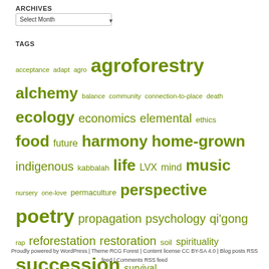ARCHIVES
Select Month (dropdown)
TAGS
acceptance adapt agro agroforestry alchemy balance community connection-to-place death ecology economics elemental ethics food future harmony home-grown indigenous kabbalah life LVX mind music nursery one-love permaculture perspective poetry propagation psychology qi'gong rap reforestation restoration soil spirituality succession survival sustainability time transmutation trees water wilderness woods
Proudly powered by WordPress | Theme RCG Forest | Content license CC BY-SA 4.0 | Blog posts RSS feed | Comments RSS feed